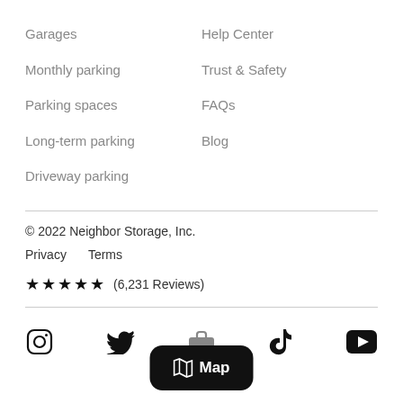Garages
Monthly parking
Parking spaces
Long-term parking
Driveway parking
Help Center
Trust & Safety
FAQs
Blog
© 2022 Neighbor Storage, Inc.
Privacy    Terms
★★★★★ (6,231 Reviews)
[Figure (other): Social media icons row: Instagram, Twitter, TikTok, YouTube, and a Map button in the center]